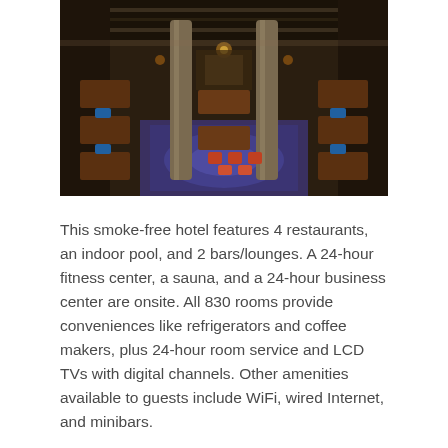[Figure (photo): Interior view of a large restaurant/bar area photographed from above, showing columns, tables with colorful chairs, decorative patterned floor carpet, and ambient warm lighting.]
This smoke-free hotel features 4 restaurants, an indoor pool, and 2 bars/lounges. A 24-hour fitness center, a sauna, and a 24-hour business center are onsite. All 830 rooms provide conveniences like refrigerators and coffee makers, plus 24-hour room service and LCD TVs with digital channels. Other amenities available to guests include WiFi, wired Internet, and minibars.